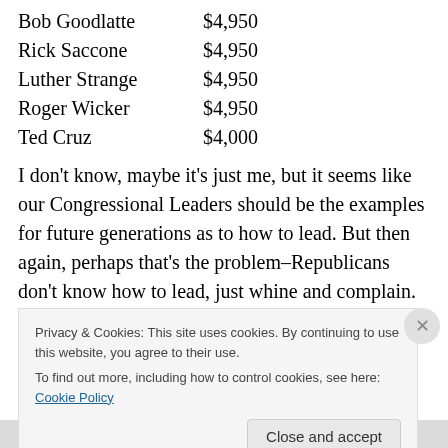Bob Goodlatte    $4,950
Rick Saccone     $4,950
Luther Strange   $4,950
Roger Wicker     $4,950
Ted Cruz         $4,000
I don't know, maybe it's just me, but it seems like our Congressional Leaders should be the examples for future generations as to how to lead. But then again, perhaps that's the problem–Republicans don't know how to lead, just whine and complain.
They complained about President Obama and whined
Privacy & Cookies: This site uses cookies. By continuing to use this website, you agree to their use.
To find out more, including how to control cookies, see here: Cookie Policy